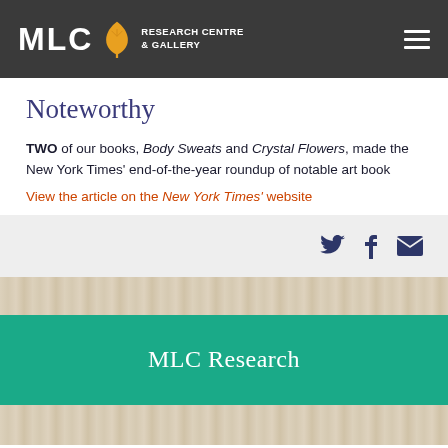MLC Research Centre & Gallery
Noteworthy
TWO of our books, Body Sweats and Crystal Flowers, made the New York Times' end-of-the-year roundup of notable art book
View the article on the New York Times' website
[Figure (other): Social media icons: Twitter bird, Facebook f, email envelope, in dark navy on light grey background]
[Figure (other): Decorative tan/beige textured horizontal strip]
MLC Research
[Figure (other): Decorative tan/beige textured horizontal strip]
Research Themes